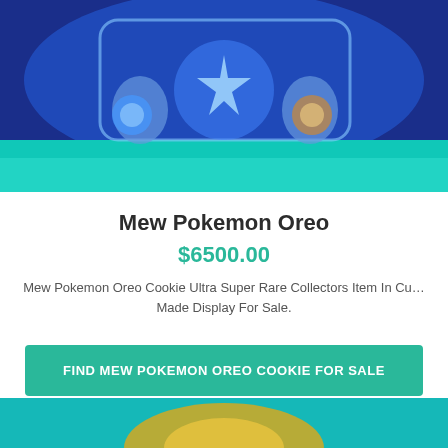[Figure (photo): Top portion of a Mew Pokemon Oreo Cookie display case with blue glowing background and teal base]
Mew Pokemon Oreo
$6500.00
Mew Pokemon Oreo Cookie Ultra Super Rare Collectors Item In Custom Made Display For Sale.
FIND MEW POKEMON OREO COOKIE FOR SALE
[Figure (photo): Bottom portion showing a gold/yellow object on a teal background — partial view of another product listing image]